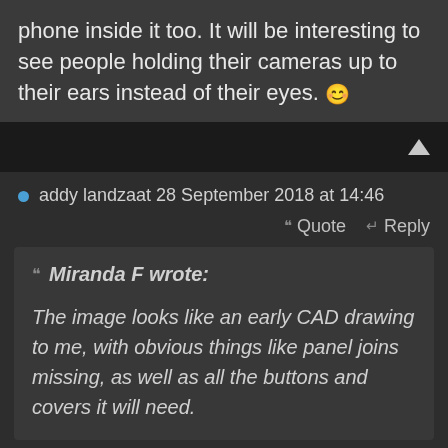phone inside it too. It will be interesting to see people holding their cameras up to their ears instead of their eyes. 😊
addy landzaat 28 September 2018 at 14:46
Quote  Reply
Miranda F wrote:
The image looks like an early CAD drawing to me, with obvious things like panel joins missing, as well as all the buttons and covers it will need.